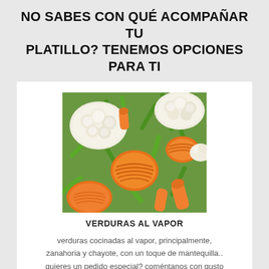NO SABES CON QUÉ ACOMPAÑAR TU PLATILLO? TENEMOS OPCIONES PARA TI
[Figure (photo): Close-up photo of mixed steamed vegetables including carrots (sliced into coin shapes and stick shapes), green beans, cauliflower florets, and other vegetables.]
VERDURAS AL VAPOR
verduras cocinadas al vapor, principalmente, zanahoria y chayote, con un toque de mantequilla.. quieres un pedido especial? coméntanos con gusto